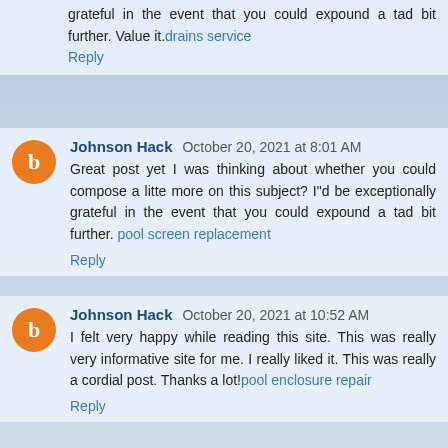grateful in the event that you could expound a tad bit further. Value it. drains service
Reply
Johnson Hack  October 20, 2021 at 8:01 AM
Great post yet I was thinking about whether you could compose a litte more on this subject? I"d be exceptionally grateful in the event that you could expound a tad bit further. pool screen replacement
Reply
Johnson Hack  October 20, 2021 at 10:52 AM
I felt very happy while reading this site. This was really very informative site for me. I really liked it. This was really a cordial post. Thanks a lot! pool enclosure repair
Reply